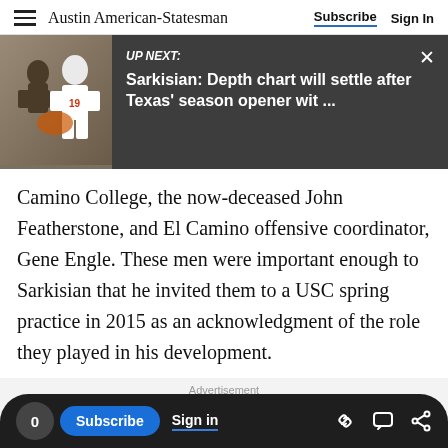Austin American-Statesman  Subscribe  Sign In
[Figure (screenshot): UP NEXT banner with football player image and headline: Sarkisian: Depth chart will settle after Texas' season opener wit ...]
Camino College, the now-deceased John Featherstone, and El Camino offensive coordinator, Gene Engle. These men were important enough to Sarkisian that he invited them to a USC spring practice in 2015 as an acknowledgment of the role they played in his development.
Advertisement
[Figure (photo): Advertisement image showing lawn equipment on green grass with text 'job done right.']
0  Subscribe  Sign in  [link icon] [chat icon] [share icon]